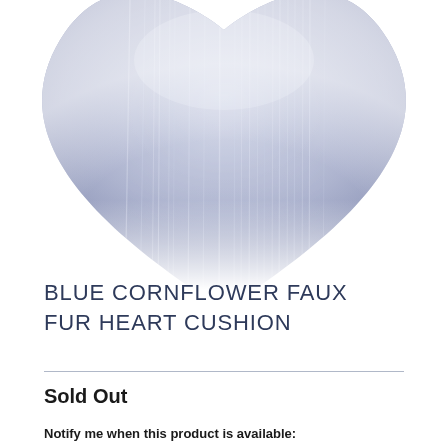[Figure (photo): A heart-shaped faux fur cushion in blue-grey/cornflower color, photographed from above on a white background. Only the lower portion of the heart is visible, showing fluffy soft fur texture.]
BLUE CORNFLOWER FAUX FUR HEART CUSHION
Sold Out
Notify me when this product is available: